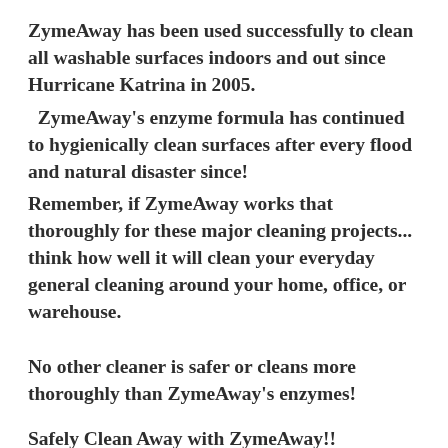ZymeAway has been used successfully to clean all washable surfaces indoors and out since Hurricane Katrina in 2005. ZymeAway's enzyme formula has continued to hygienically clean surfaces after every flood and natural disaster since! Remember, if ZymeAway works that thoroughly for these major cleaning projects... think how well it will clean your everyday general cleaning around your home, office, or warehouse.
No other cleaner is safer or cleans more thoroughly than ZymeAway's enzymes!
Safely Clean Away with ZymeAway!!